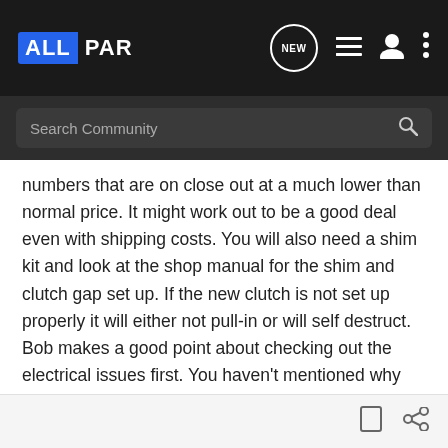ALLPAR [NEW] [list] [user] [more]
Search Community
numbers that are on close out at a much lower than normal price. It might work out to be a good deal even with shipping costs. You will also need a shim kit and look at the shop manual for the shim and clutch gap set up. If the new clutch is not set up properly it will either not pull-in or will self destruct. Bob makes a good point about checking out the electrical issues first. You haven't mentioned why the clutch needs to be replaced is it a mechanical issue or is the clutch coil open? John also makes a good point about leaking front seals and burned clutches from oil getting on them. Sometimes taking what looks like the less expensive way out turns out to be the more expensive way- been there done that!
[bookmark] [share]